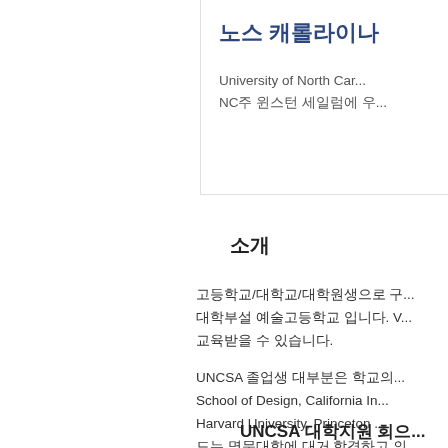노스 캐롤라이나
University of North Car...
NC주 윈스턴 세일럼에 우...
소개
고등학교/대학교/대학원생으로 구...
대학부설 예술고등학교 입니다. V...
교육받을 수 있습니다.
UNCSA 졸업생 대부분은 학교의...
School of Design, California In...
Harvard University, Princeton ...
드는 명문대학에 대거 합격하고 의...
UNCSA 대학지원 회으...